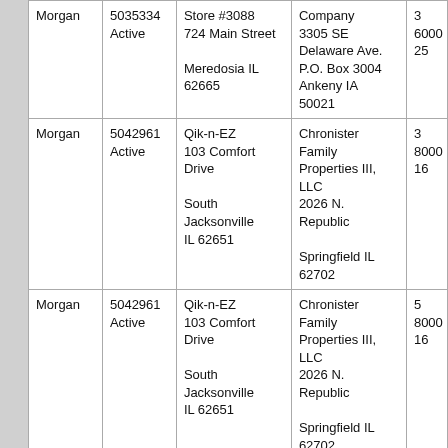| County | License/Status | Business Name & Address | Owner/Company Address | Other |
| --- | --- | --- | --- | --- |
| Morgan | 5035334
Active | Store #3088
724 Main Street

Meredosia IL 62665 | Company
3305 SE Delaware Ave.
P.O. Box 3004
Ankeny IA 50021 | 3
6000
25 |
| Morgan | 5042961
Active | Qik-n-EZ
103 Comfort Drive

South Jacksonville IL 62651 | Chronister Family Properties III, LLC
2026 N. Republic

Springfield IL 62702 | 3
8000
16 |
| Morgan | 5042961
Active | Qik-n-EZ
103 Comfort Drive

South Jacksonville IL 62651 | Chronister Family Properties III, LLC
2026 N. Republic

Springfield IL 62702 | 5
8000
16 |
| Morgan | 5046190
Active | Love's Travel Stop #687
228 Moeller Rd.

South Jacksonville... | Love's Travel Stops & Country Stores, Inc.
P.O. Box 26210
10601 N. Penn... | 6
20000
6 |